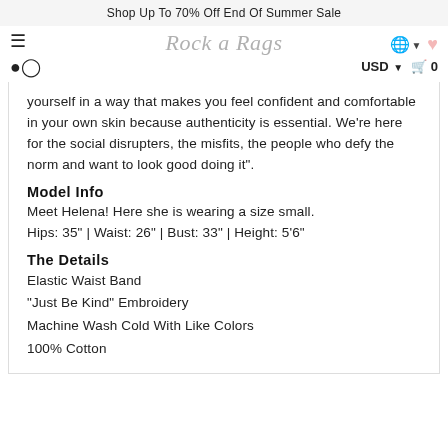Shop Up To 70% Off End Of Summer Sale
yourself in a way that makes you feel confident and comfortable in your own skin because authenticity is essential. We're here for the social disrupters, the misfits, the people who defy the norm and want to look good doing it".
Model Info
Meet Helena! Here she is wearing a size small.
Hips: 35" | Waist: 26" | Bust: 33" | Height: 5'6"
The Details
Elastic Waist Band
"Just Be Kind" Embroidery
Machine Wash Cold With Like Colors
100% Cotton